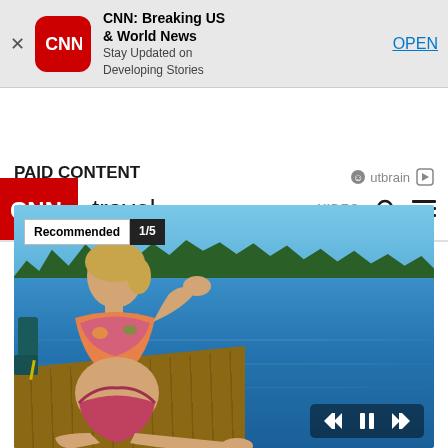[Figure (screenshot): CNN app banner ad with CNN logo, title 'CNN: Breaking US & World News', subtitle 'Stay Updated on Developing Stories', and OPEN button]
CNN travel | VIDEO
PAID CONTENT
Outbrain
[Figure (photo): Woman in colorful bikini sitting on a wooden dock by a lake with trees and blue sky in background. Recommended 1/5 badge visible. Media playback controls at bottom right.]